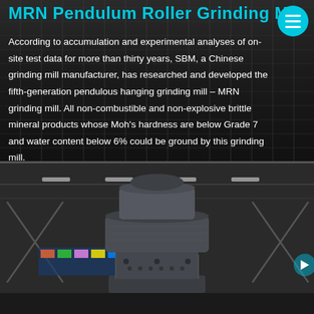MRN Pendulum Roller Grinding M…
According to accumulation and experimental analyses of on-site test data for more than thirty years, SBM, a Chinese grinding mill manufacturer, has researched and developed the fifth-generation pendulous hanging grinding mill – MRN grinding mill. All non-combustible and non-explosive brittle mineral products whose Moh's hardness are below Grade 7 and water content below 6% could be ground by this grinding mill.
[Figure (photo): Photo of MRN Pendulum Roller Grinding Mill machine on display at an industrial exhibition hall, showing the large cylindrical grinding mill unit with cross-braced support structures in background.]